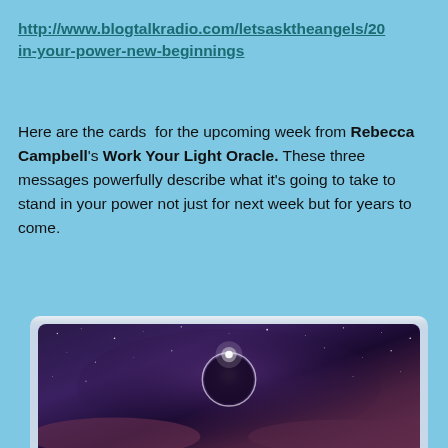http://www.blogtalkradio.com/letsasktheangels/20...
in-your-power-new-beginnings
Here are the cards  for the upcoming week from Rebecca Campbell's Work Your Light Oracle. These three messages powerfully describe what it's going to take to stand in your power not just for next week but for years to come.
[Figure (illustration): Partial view of an oracle card showing a cosmic/space scene with a purple starry night sky and a solar eclipse or ring of light in the center.]